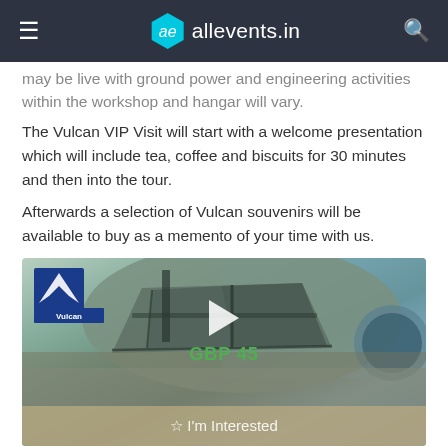ae allevents.in
may be live with ground power and engineering activities within the workshop and hangar will vary.
The Vulcan VIP Visit will start with a welcome presentation which will include tea, coffee and biscuits for 30 minutes and then into the tour.
Afterwards a selection of Vulcan souvenirs will be available to buy as a memento of your time with us.
[Figure (screenshot): Video thumbnail of Vulcan aircraft cockpit/canopy close-up with Vulcan logo in top-left. Play button overlay in center with GBP 45 price label and 'I'm Interested' button at bottom.]